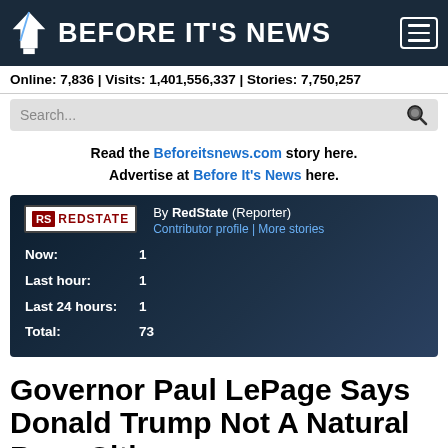BEFORE IT'S NEWS
Online: 7,836 | Visits: 1,401,556,337 | Stories: 7,750,257
Read the Beforeitsnews.com story here. Advertise at Before It's News here.
[Figure (infographic): RedState contributor card showing article stats: Now: 1, Last hour: 1, Last 24 hours: 1, Total: 73. By RedState (Reporter). Contributor profile | More stories.]
Governor Paul LePage Says Donald Trump Not A Natural Born Citizen
Thursday, March 3, 2016 15:33